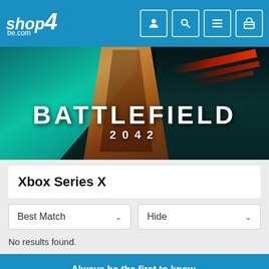[Figure (screenshot): shop4be.com website header with logo and navigation icons (user, search, menu, cart)]
[Figure (photo): Battlefield 2042 promotional banner image with soldier, teal/dark background and game title text]
Xbox Series X
Best Match
Hide
No results found.
Always be the first to know.